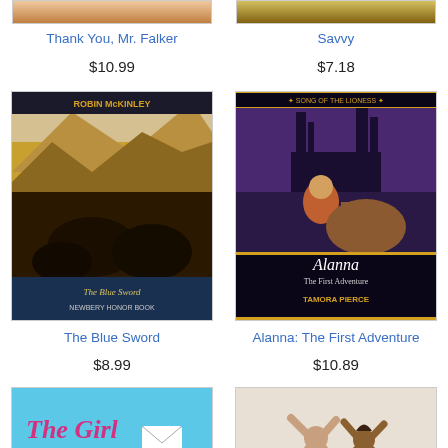[Figure (photo): Partial book cover image top-left (Thank You Mr. Falker)]
[Figure (photo): Partial book cover image top-right (Savvy by Ingrid Law)]
Thank You, Mr. Falker
Savvy
$10.99
$7.18
[Figure (photo): Book cover: The Blue Sword by Robin McKinley, Newbery Honor book, showing horses and riders in desert landscape]
[Figure (photo): Book cover: Alanna: The First Adventure by Tamora Pierce, Song of the Lioness series, showing a girl with a horse and castle]
The Blue Sword
Alanna: The First Adventure
$8.99
$10.89
[Figure (photo): Partial book cover bottom-left: The Girl... (teal/blue background with pink text)]
[Figure (photo): Partial book cover bottom-right: showing two people with arms raised from behind]